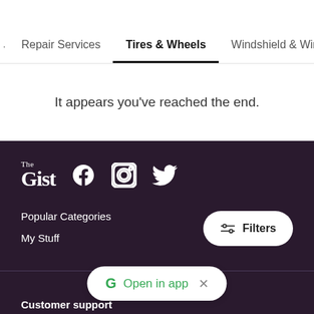Repair Services  Tires & Wheels  Windshield & Wind...
It appears you've reached the end.
[Figure (screenshot): Footer with The Gist logo, Facebook, Instagram, and Twitter social icons on a dark purple background]
Popular Categories
My Stuff
Customer support